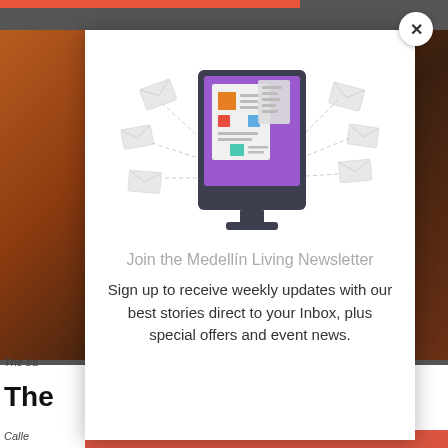[Figure (screenshot): Website screenshot showing a newsletter signup modal overlay on a webpage with an orange/red photo background. The modal contains an illustration of a computer monitor with newsletter/document graphics and flying envelope icons, along with signup text.]
Join the Medellín Living Newsletter
Sign up to receive weekly updates with our best stories direct to your Inbox, plus special offers and event news.
The ba
The
Calle